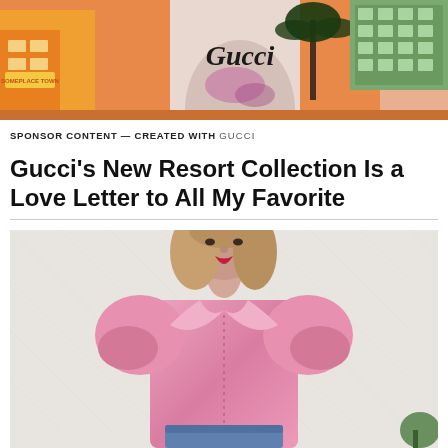[Figure (photo): A colorful Gucci-branded photo with palm tree illustration and orange/yellow buildings with a person wearing a Gucci top]
SPONSOR CONTENT — CREATED WITH GUCCI
Gucci's New Resort Collection Is a Love Letter to All My Favorite
[Figure (photo): A woman with shoulder-length blonde hair and red lipstick wearing a pink metallic puff-sleeved collared blouse, photographed against a light textured wall]